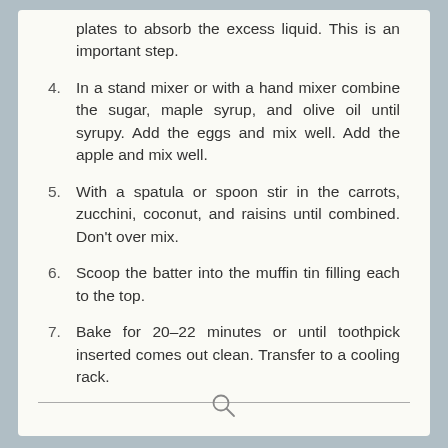plates to absorb the excess liquid. This is an important step.
4. In a stand mixer or with a hand mixer combine the sugar, maple syrup, and olive oil until syrupy. Add the eggs and mix well. Add the apple and mix well.
5. With a spatula or spoon stir in the carrots, zucchini, coconut, and raisins until combined. Don't over mix.
6. Scoop the batter into the muffin tin filling each to the top.
7. Bake for 20–22 minutes or until toothpick inserted comes out clean. Transfer to a cooling rack.
Search